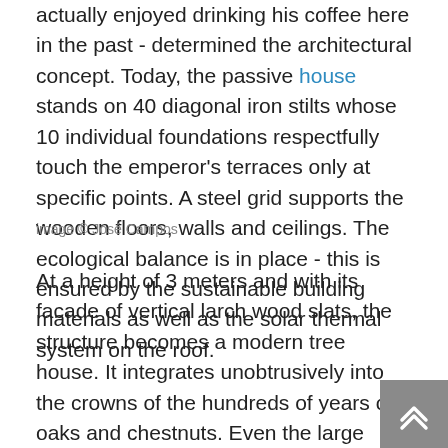actually enjoyed drinking his coffee here in the past - determined the architectural concept. Today, the passive house stands on 40 diagonal iron stilts whose 10 individual foundations respectfully touch the emperor's terraces only at specific points. A steel grid supports the wooden floors, walls and ceilings. The ecological balance is in place - this is ensured by the sustainable building materials as well as the solar thermal system on the roof.
image © José Campos
At a height of 3 meters and with its facade of vertical larch wood slats, the structure becomes a modern tree house. It integrates unobtrusively into the crowns of the hundreds of years old oaks and chestnuts. Even the large maple that stood in the way of the house remained in place and now grows right through the middle of the living room.